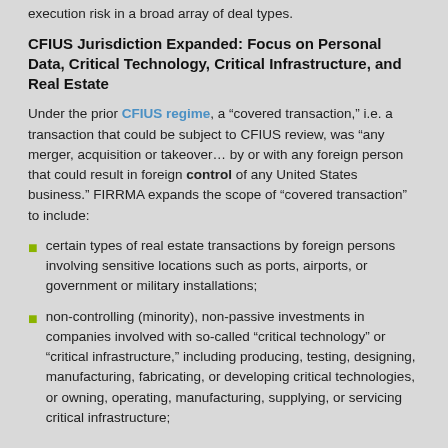execution risk in a broad array of deal types.
CFIUS Jurisdiction Expanded: Focus on Personal Data, Critical Technology, Critical Infrastructure, and Real Estate
Under the prior CFIUS regime, a “covered transaction,” i.e. a transaction that could be subject to CFIUS review, was “any merger, acquisition or takeover… by or with any foreign person that could result in foreign control of any United States business.” FIRRMA expands the scope of “covered transaction” to include:
certain types of real estate transactions by foreign persons involving sensitive locations such as ports, airports, or government or military installations;
non-controlling (minority), non-passive investments in companies involved with so-called “critical technology” or “critical infrastructure,” including producing, testing, designing, manufacturing, fabricating, or developing critical technologies, or owning, operating, manufacturing, supplying, or servicing critical infrastructure;